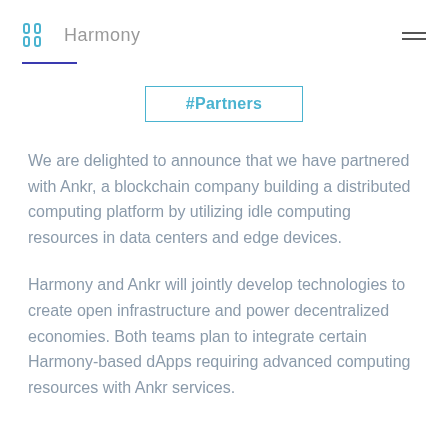Harmony
#Partners
We are delighted to announce that we have partnered with Ankr, a blockchain company building a distributed computing platform by utilizing idle computing resources in data centers and edge devices.
Harmony and Ankr will jointly develop technologies to create open infrastructure and power decentralized economies. Both teams plan to integrate certain Harmony-based dApps requiring advanced computing resources with Ankr services.